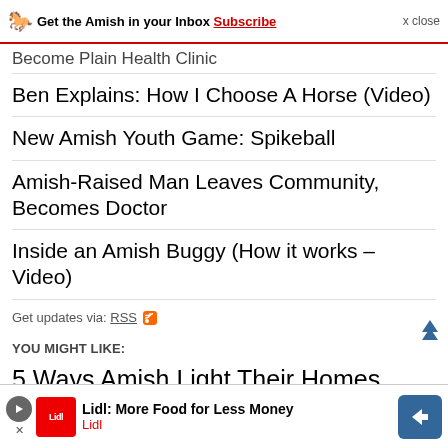Get the Amish in your Inbox Subscribe x close
Become Plain Health Clinic
Ben Explains: How I Choose A Horse (Video)
New Amish Youth Game: Spikeball
Amish-Raised Man Leaves Community, Becomes Doctor
Inside an Amish Buggy (How it works – Video)
Get updates via: RSS
YOU MIGHT LIKE:
5 Ways Amish Light Their Homes
» How do the Amish light their homes? Without a public power connection, it's not as...
Amish Lighting
» From...
[Figure (infographic): Lidl advertisement banner: Lidl logo with text 'Lidl: More Food for Less Money' and a blue navigation icon]